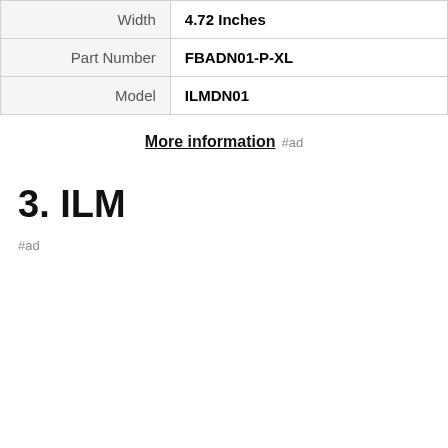| Width | 4.72 Inches |
| Part Number | FBADN01-P-XL |
| Model | ILMDN01 |
More information #ad
3. ILM
#ad
As an Amazon Associate I earn from qualifying purchases. This website uses the only necessary cookies to ensure you get the best experience on our website. More information